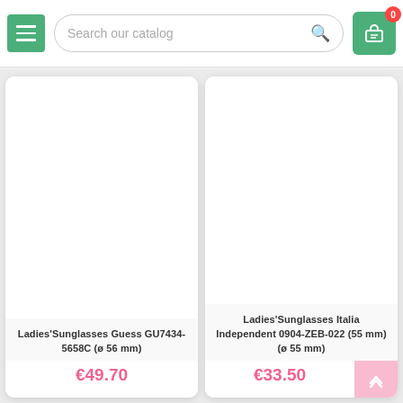[Figure (screenshot): E-commerce website navigation bar with hamburger menu, search field reading 'Search our catalog', and shopping cart icon with badge showing 0]
Ladies'Sunglasses Guess GU7434-5658C (ø 56 mm)
€49.70
Ladies'Sunglasses Italia Independent 0904-ZEB-022 (55 mm) (ø 55 mm)
€33.50